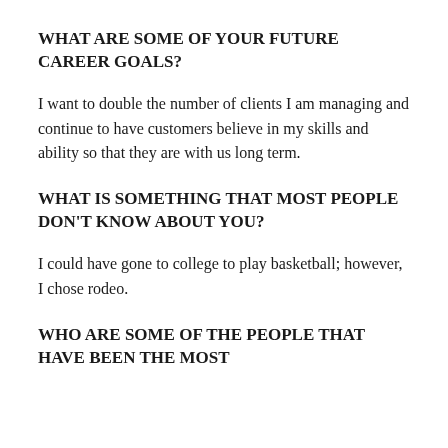WHAT ARE SOME OF YOUR FUTURE CAREER GOALS?
I want to double the number of clients I am managing and continue to have customers believe in my skills and ability so that they are with us long term.
WHAT IS SOMETHING THAT MOST PEOPLE DON'T KNOW ABOUT YOU?
I could have gone to college to play basketball; however, I chose rodeo.
WHO ARE SOME OF THE PEOPLE THAT HAVE BEEN THE MOST